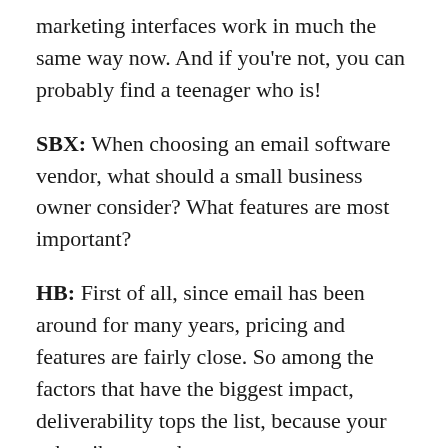marketing interfaces work in much the same way now. And if you're not, you can probably find a teenager who is!
SBX: When choosing an email software vendor, what should a small business owner consider? What features are most important?
HB: First of all, since email has been around for many years, pricing and features are fairly close. So among the factors that have the biggest impact, deliverability tops the list, because your subscribers need to get your messages consistently. Integrations with social media and other tools will help you tackle vital marketing functions, so an open-source service gives you that flexibility and room for